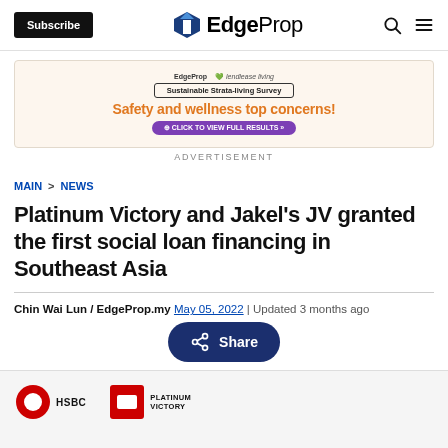Subscribe | EdgeProp
[Figure (infographic): EdgeProp and Lendlease Living Sustainable Strata-living Survey advertisement. Text reads: Safety and wellness top concerns! Click to view full results.]
ADVERTISEMENT
MAIN > NEWS
Platinum Victory and Jakel's JV granted the first social loan financing in Southeast Asia
Chin Wai Lun / EdgeProp.my May 05, 2022 | Updated 3 months ago
[Figure (photo): Bottom portion of a photo showing HSBC and Platinum Victory logos/signage at what appears to be a signing ceremony.]